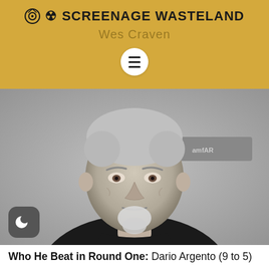SCREENAGE WASTELAND
Wes Craven
[Figure (photo): Black and white portrait photo of an older man with gray hair and a gray goatee beard, wearing a black shirt, at what appears to be an event with a backdrop behind him. A dark mode toggle button (crescent moon icon) is visible in the lower left corner of the photo.]
Who He Beat in Round One: Dario Argento (9 to 5)